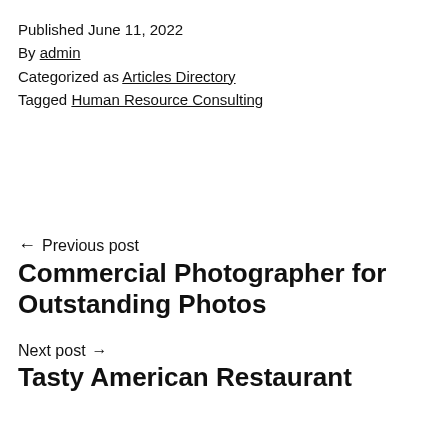Published June 11, 2022
By admin
Categorized as Articles Directory
Tagged Human Resource Consulting
← Previous post
Commercial Photographer for Outstanding Photos
Next post →
Tasty American Restaurant